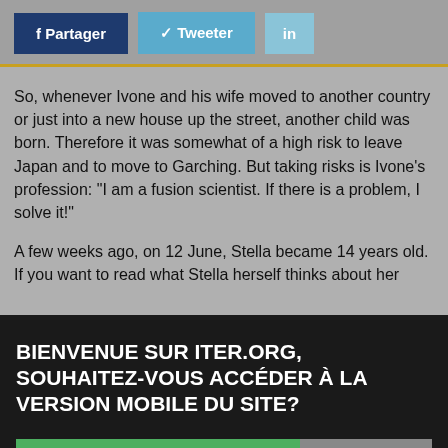f Partager   Tweeter   in
So, whenever Ivone and his wife moved to another country or just into a new house up the street, another child was born. Therefore it was somewhat of a high risk to leave Japan and to move to Garching. But taking risks is Ivone's profession: "I am a fusion scientist. If there is a problem, I solve it!"
A few weeks ago, on 12 June, Stella became 14 years old. If you want to read what Stella herself thinks about her
BIENVENUE SUR ITER.ORG, SOUHAITEZ-VOUS ACCÉDER À LA VERSION MOBILE DU SITE?
☐ Oui, Continuer sur le site mobile
Haut de la Page
☐ Non, rester sur la version classique